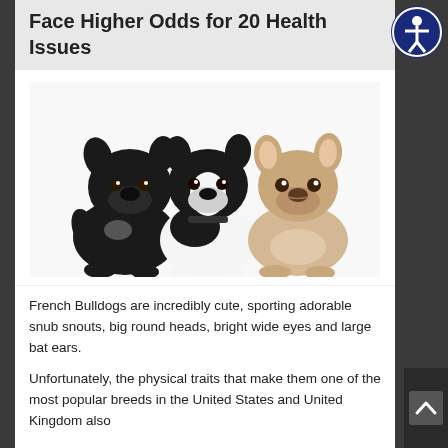Face Higher Odds for 20 Health Issues
[Figure (photo): Three French Bulldog puppies sitting side by side on white background: one black on the left, one black-and-white pied in the center, and one fawn/cream on the right.]
French Bulldogs are incredibly cute, sporting adorable snub snouts, big round heads, bright wide eyes and large bat ears.
Unfortunately, the physical traits that make them one of the most popular breeds in the United States and United Kingdom also